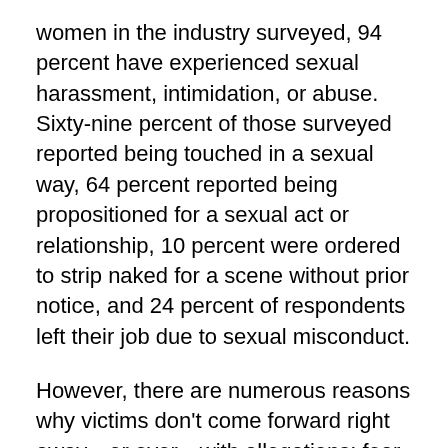women in the industry surveyed, 94 percent have experienced sexual harassment, intimidation, or abuse. Sixty-nine percent of those surveyed reported being touched in a sexual way, 64 percent reported being propositioned for a sexual act or relationship, 10 percent were ordered to strip naked for a scene without prior notice, and 24 percent of respondents left their job due to sexual misconduct.
However, there are numerous reasons why victims don't come forward right away—or ever—with allegations: fear of retaliation or consequences from the abuser or the public, denial or minimization, fear of not being believed, not to mention an arduous and